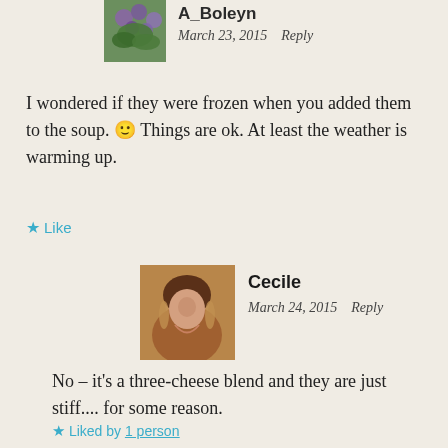[Figure (photo): Small avatar image of purple/blue flowers, partially visible at top]
A_Boleyn
March 23, 2015   Reply
I wondered if they were frozen when you added them to the soup. 🙂 Things are ok. At least the weather is warming up.
★ Like
[Figure (photo): Avatar photo of a woman named Cecile, smiling, dark hair]
Cecile
March 24, 2015   Reply
No – it's a three-cheese blend and they are just stiff.... for some reason.
★ Liked by 1 person